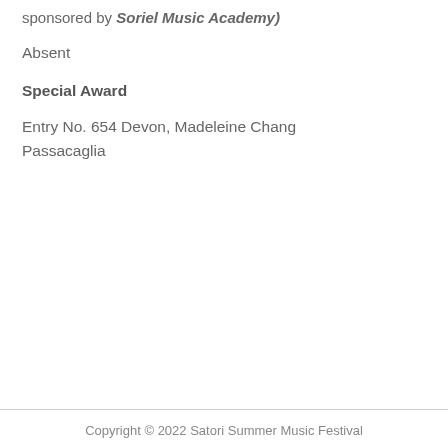sponsored by Soriel Music Academy)
Absent
Special Award
Entry No. 654 Devon, Madeleine Chang Passacaglia
Copyright © 2022 Satori Summer Music Festival